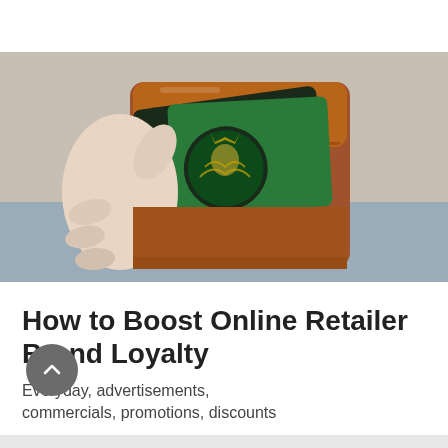[Figure (photo): A hand holding an open brown leather wallet with a Starbucks gift card visible inside the card slot]
How to Boost Online Retailer Brand Loyalty
Everyday, advertisements, commercials, promotions, discounts